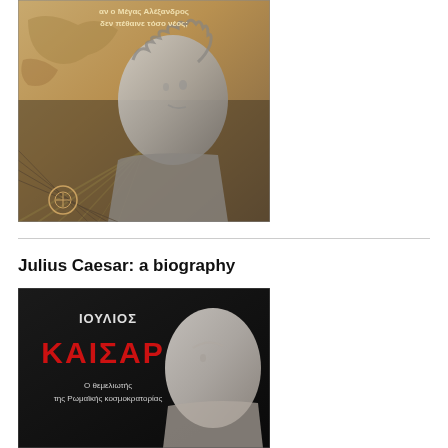[Figure (photo): Book cover showing a marble bust of Alexander the Great against a map background with Greek text reading 'αν ο Μέγας Αλέξανδρος δεν πέθαινε τόσο νέος;' and a publisher logo at the bottom left.]
Julius Caesar: a biography
[Figure (photo): Book cover with dark background showing Greek text 'ΙΟΥΛΙΟΣ ΚΑΙΣΑΡ' in red letters and subtitle 'Ο θεμελιωτής της Ρωμαϊκής κοσμοκρατορίας' with a marble bust.]